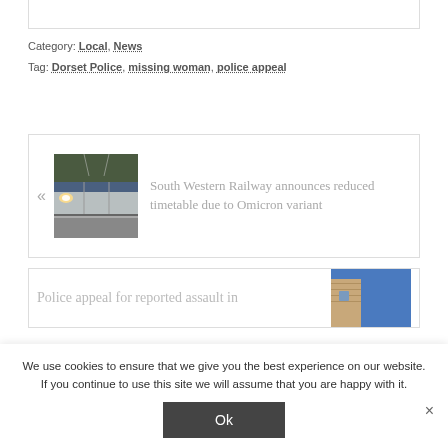Category: Local, News
Tag: Dorset Police, missing woman, police appeal
[Figure (photo): Navigation card showing a train (South Western Railway) on tracks with platform, with text: South Western Railway announces reduced timetable due to Omicron variant]
South Western Railway announces reduced timetable due to Omicron variant
[Figure (photo): Partially visible navigation card with text 'Police appeal for reported assault in' and a thumbnail of a building with blue sky]
We use cookies to ensure that we give you the best experience on our website. If you continue to use this site we will assume that you are happy with it.
Ok